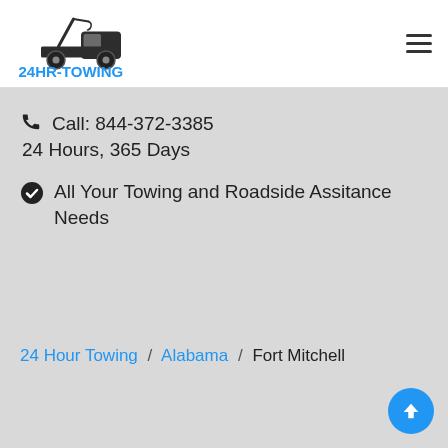[Figure (logo): 24HR-TOWING logo with tow truck graphic and blue text]
Call: 844-372-3385
24 Hours, 365 Days
All Your Towing and Roadside Assitance Needs
24 Hour Towing / Alabama / Fort Mitchell